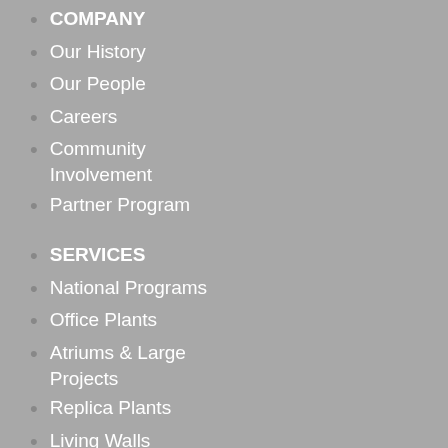COMPANY
Our History
Our People
Careers
Community Involvement
Partner Program
SERVICES
National Programs
Office Plants
Atriums & Large Projects
Replica Plants
Living Walls
Holiday Decorating
RESOURCES
Updated, 2nd Edition: The Nature of the Post-